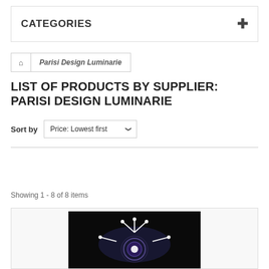CATEGORIES
Parisi Design Luminarie
LIST OF PRODUCTS BY SUPPLIER: PARISI DESIGN LUMINARIE
Sort by Price: Lowest first
Compare ( 0 )
Showing 1 - 8 of 8 items
[Figure (photo): Product photo showing a luminarie/light fixture against a black background with light rays emanating from a central decorative element]